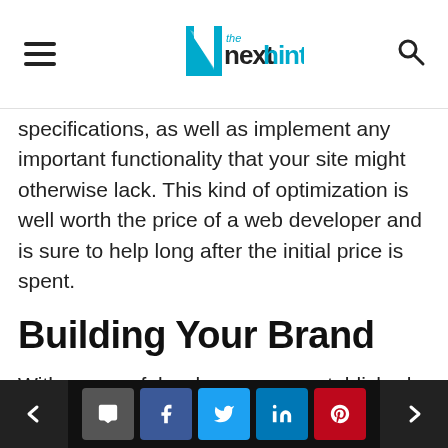The Next Hint
specifications, as well as implement any important functionality that your site might otherwise lack. This kind of optimization is well worth the price of a web developer and is sure to help long after the initial price is spent.
Building Your Brand
With a powerful web presence established, you will have taken the first steps towards building up a strong and recognizable brand. However, there are plenty of additional steps that you could and should take in order to further solidify the brand image you are building and potentially even add to it.
Utilizing Marketing Tools. There are plenty of
< comment facebook twitter linkedin pinterest >